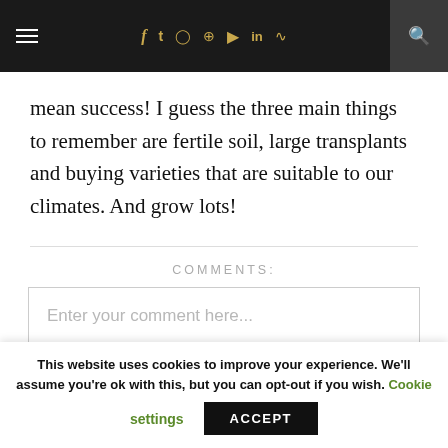≡  f  t  ⊙  ⊕  ▶  in  )))  🔍
mean success! I guess the three main things to remember are fertile soil, large transplants and buying varieties that are suitable to our climates. And grow lots!
COMMENTS:
Enter your comment here...
This website uses cookies to improve your experience. We'll assume you're ok with this, but you can opt-out if you wish. Cookie settings  ACCEPT